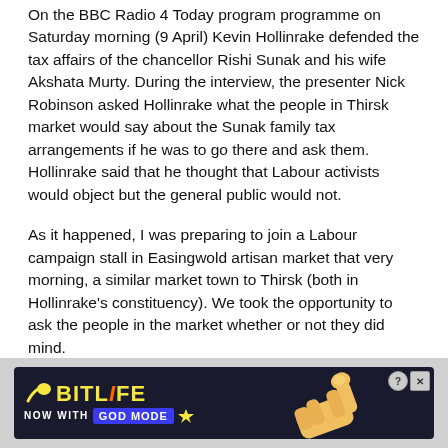On the BBC Radio 4 Today program programme on Saturday morning (9 April) Kevin Hollinrake defended the tax affairs of the chancellor Rishi Sunak and his wife Akshata Murty. During the interview, the presenter Nick Robinson asked Hollinrake what the people in Thirsk market would say about the Sunak family tax arrangements if he was to go there and ask them. Hollinrake said that he thought that Labour activists would object but the general public would not.
As it happened, I was preparing to join a Labour campaign stall in Easingwold artisan market that very morning, a similar market town to Thirsk (both in Hollinrake's constituency). We took the opportunity to ask the people in the market whether or not they did mind.
[Figure (other): BitLife mobile game advertisement banner with yellow logo text 'BitLife', tagline 'NOW WITH GOD MODE', lightning bolt graphic, and cartoon hand/finger pointing gesture. Dark blue background with close (X) and help (?) buttons.]